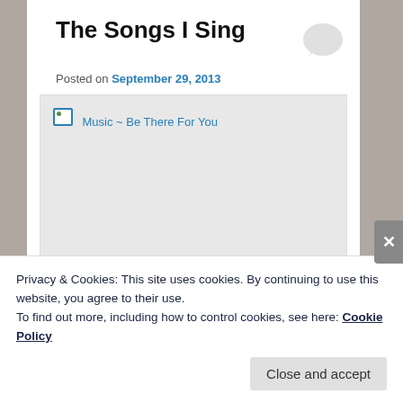The Songs I Sing
Posted on September 29, 2013
[Figure (photo): Broken image placeholder with alt text 'Music ~ Be There For You' shown as image link in a gray rectangle]
Privacy & Cookies: This site uses cookies. By continuing to use this website, you agree to their use.
To find out more, including how to control cookies, see here: Cookie Policy
Close and accept